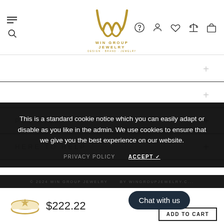[Figure (logo): Win Group Jewelry logo with stylized W monogram in gold and brand name text]
SERVICES
INFORMATION
POLICIES
HERE TO HELP
This is a standard cookie notice which you can easily adapt or disable as you like in the admin. We use cookies to ensure that we give you the best experience on our website.
PRIVACY POLICY    ACCEPT ✓
$222.22
Chat with us
ADD TO CART